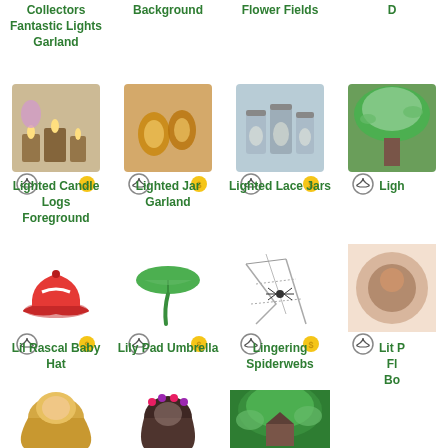Collectors
Fantastic Lights
Garland
Background
Flower Fields
D...
[Figure (illustration): Lighted Candle Logs Foreground item image]
Lighted Candle Logs
Foreground
[Figure (illustration): Lighted Jar Garland item image]
Lighted Jar Garland
[Figure (illustration): Lighted Lace Jars item image]
Lighted Lace Jars
[Figure (illustration): Ligh... item image (partially visible)]
Ligh...
[Figure (illustration): Lil Rascal Baby Hat item image - red baseball cap]
Lil Rascal Baby Hat
[Figure (illustration): Lily Pad Umbrella item image - green umbrella]
Lily Pad Umbrella
[Figure (illustration): Lingering Spiderwebs item image]
Lingering Spiderwebs
[Figure (illustration): Lit P... Fl... Bo... item image (partially visible)]
Lit P...
Fl...
Bo...
[Figure (illustration): Blonde hair character (partially visible)]
[Figure (illustration): Dark hair character with flower crown (partially visible)]
[Figure (illustration): Jungle/tree scene character (partially visible)]